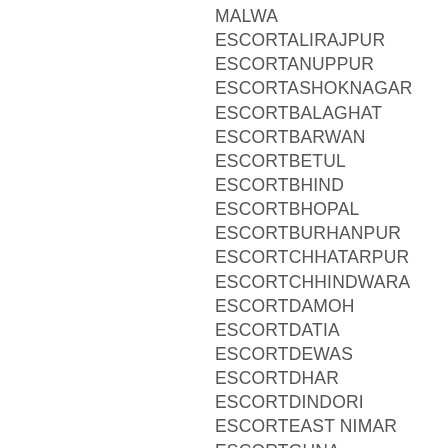MALWA ESCORTALIRAJPUR ESCORTANUPPUR ESCORTASHOKNAGAR ESCORTBALAGHAT ESCORTBARWAN ESCORTBETUL ESCORTBHIND ESCORTBHOPAL ESCORTBURHANPUR ESCORTCHHATARPUR ESCORTCHHINDWARA ESCORTDAMOH ESCORTDATIA ESCORTDEWAS ESCORTDHAR ESCORTDINDORI ESCORTEAST NIMAR ESCORTGUNA ESCORTGWALIOR ESCORTHARDA ESCORTHOSHANGABAD ESCORTINDORE ESCORTJABALPUR ESCORTJHABUA ESCORTKATNI ESCORTMANDLA ESCORTMANDSAUR ESCORTMORENA ESCORTNARSINGHPUR ESCORTNEEMUCH ESCORTNIWARI ESCORTPANNA ESCORTRAISEN ESCORTRAJGARH ESCORTRATLAM ESCORTREWA ESCORTSAGAR ESCORTSATNA ESCORT